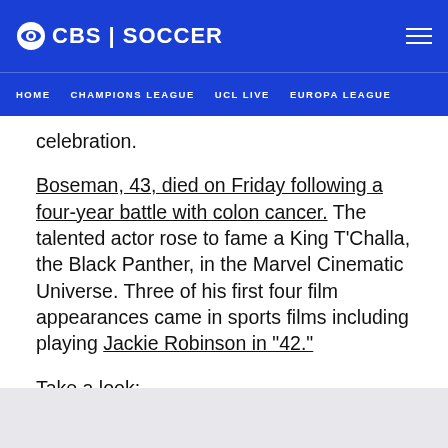CBS | SOCCER
HOME   CHAMPIONS LEAGUE   UCL LIVE   EUROPA LEAGUE
celebration.
Boseman, 43, died on Friday following a four-year battle with colon cancer. The talented actor rose to fame a King T'Challa, the Black Panther, in the Marvel Cinematic Universe. Three of his first four film appearances came in sports films including playing Jackie Robinson in "42."
Take a look: